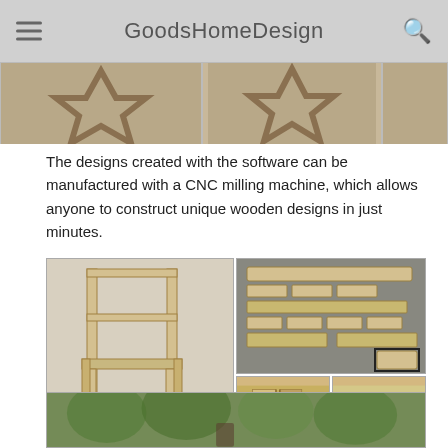GoodsHomeDesign
[Figure (photo): Three photos of wooden star-shaped designs/frames at the top of the page]
The designs created with the software can be manufactured with a CNC milling machine, which allows anyone to construct unique wooden designs in just minutes.
[Figure (photo): Composite image showing: a wooden chair frame assembled, wooden parts/pieces laid out, close-up of a corner joint, and close-up of a connector piece]
[Figure (photo): Bottom partial photo showing trees and a person outdoors]